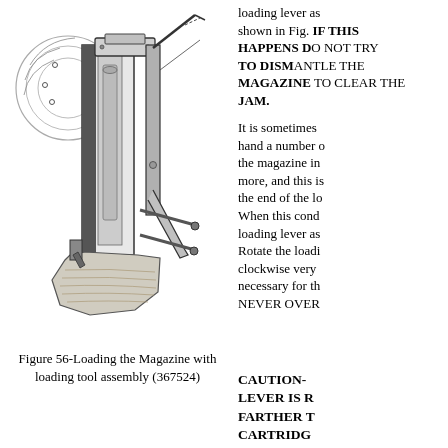[Figure (illustration): Technical illustration of a magazine loading tool assembly with lever mechanism, showing the loading tool mounted on what appears to be a firearm magazine. The illustration is a detailed line drawing in grayscale.]
Figure 56-Loading the Magazine with loading tool assembly (367524)
loading lever as shown in Fig. IF THIS HAPPENS DO NOT TRY TO DISMANTLE THE MAGAZINE TO CLEAR THE JAM.
It is sometimes hand a number of the magazine in more, and this is the end of the lo When this cond loading lever as Rotate the loadi clockwise very necessary for th NEVER OVER
CAUTION- LEVER IS R FARTHER T CARTRIDG